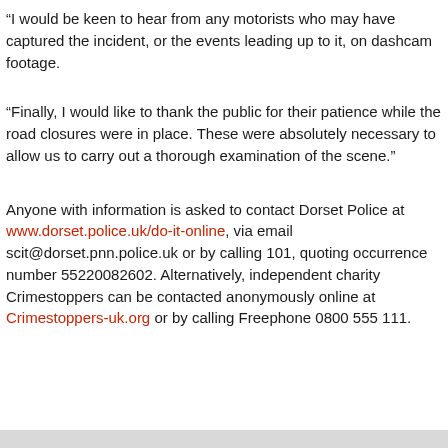“I would be keen to hear from any motorists who may have captured the incident, or the events leading up to it, on dashcam footage.
“Finally, I would like to thank the public for their patience while the road closures were in place. These were absolutely necessary to allow us to carry out a thorough examination of the scene.”
Anyone with information is asked to contact Dorset Police at www.dorset.police.uk/do-it-online, via email scit@dorset.pnn.police.uk or by calling 101, quoting occurrence number 55220082602. Alternatively, independent charity Crimestoppers can be contacted anonymously online at Crimestoppers-uk.org or by calling Freephone 0800 555 111.